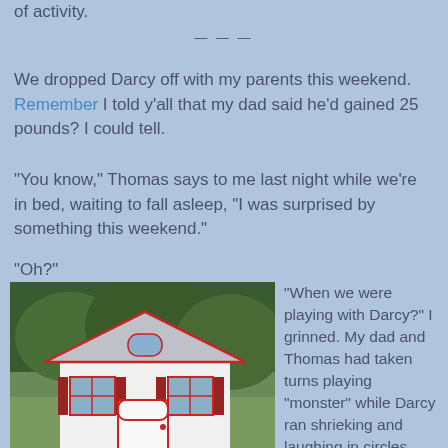of activity.
---
We dropped Darcy off with my parents this weekend. Remember I told y'all that my dad said he'd gained 25 pounds? I could tell.
"You know," Thomas says to me last night while we're in bed, waiting to fall asleep, "I was surprised by something this weekend."
"Oh?"
[Figure (photo): A small white and red cottage-style playhouse or shed with a peaked roof, red trim, shutters, and windows, surrounded by trees.]
"When we were playing with Darcy?" I grinned. My dad and Thomas had taken turns playing "monster" while Darcy ran shrieking and laughing in circles